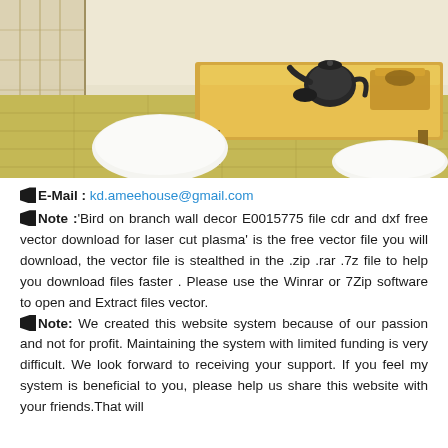[Figure (photo): Japanese-style room interior with tatami mat flooring, shoji screen on the left, a low wooden table in the center with a black teapot and basket, and two white oval cushions/poufs on the floor.]
E-Mail : kd.ameehouse@gmail.com
Note :'Bird on branch wall decor E0015775 file cdr and dxf free vector download for laser cut plasma' is the free vector file you will download, the vector file is stealthed in the .zip .rar .7z file to help you download files faster . Please use the Winrar or 7Zip software to open and Extract files vector.
Note: We created this website system because of our passion and not for profit. Maintaining the system with limited funding is very difficult. We look forward to receiving your support. If you feel my system is beneficial to you, please help us share this website with your friends.That will